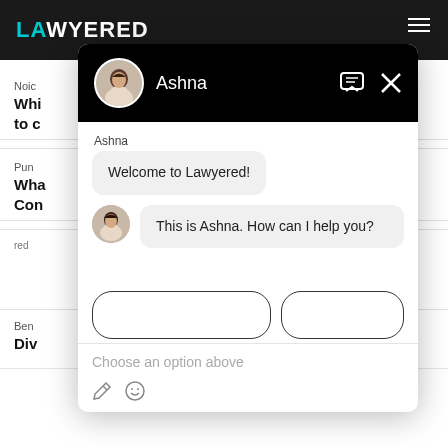[Figure (screenshot): Screenshot of Lawyered website with a live chat widget overlay. The chat widget shows agent 'Ashna' sending welcome messages: 'Welcome to Lawyered!' and 'This is Ashna. How can I help you?' with an input field showing 'Choose an option above' placeholder text.]
Noic
Whi to c
Pun
Wha Con
Ben
Div
Ashna
Welcome to Lawyered!
This is Ashna. How can I help you?
Choose an option above